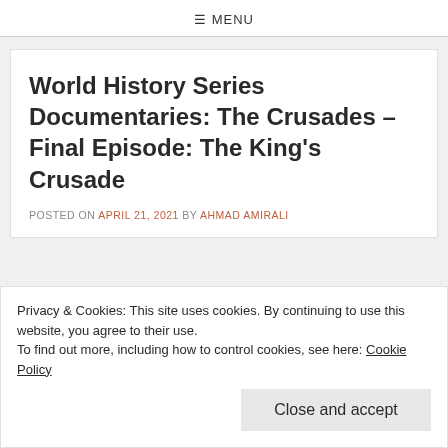☰ MENU
World History Series Documentaries: The Crusades – Final Episode: The King's Crusade
POSTED ON APRIL 21, 2021 BY AHMAD AMIRALI
Privacy & Cookies: This site uses cookies. By continuing to use this website, you agree to their use.
To find out more, including how to control cookies, see here: Cookie Policy
Close and accept